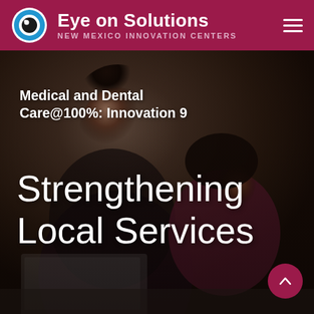Eye on Solutions — NEW MEXICO INNOVATION CENTERS
[Figure (photo): A woman and a child sitting together at a desk with a laptop, looking at a phone or tablet. The image is a muted, dark-toned photo used as a hero background for a healthcare/innovation web page.]
Medical and Dental Care@100%: Innovation 9
Strengthening Local Services